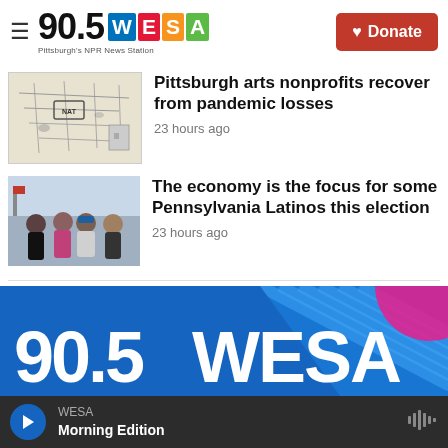90.5 WESA — Pittsburgh's NPR News Station | Donate
[Figure (photo): Thumbnail image of a map-style illustration with HAT label, black and white sketch]
Pittsburgh arts nonprofits recover from pandemic losses
23 hours ago
[Figure (photo): Thumbnail photo of people outdoors at a public event, women in summer clothing]
The economy is the focus for some Pennsylvania Latinos this election
23 hours ago
[Figure (illustration): 90.5 WESA logo banner advertisement with blue background, diagonal stripe pattern and pink accent]
WESA Morning Edition